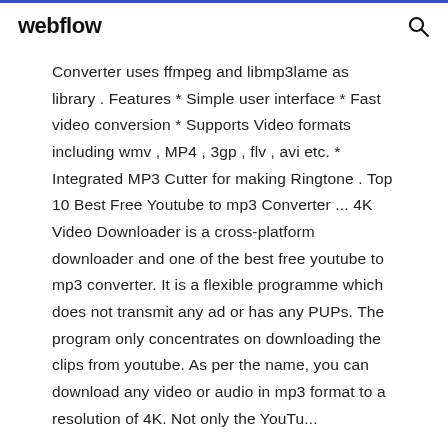webflow
Converter uses ffmpeg and libmp3lame as library . Features * Simple user interface * Fast video conversion * Supports Video formats including wmv , MP4 , 3gp , flv , avi etc. * Integrated MP3 Cutter for making Ringtone . Top 10 Best Free Youtube to mp3 Converter ... 4K Video Downloader is a cross-platform downloader and one of the best free youtube to mp3 converter. It is a flexible programme which does not transmit any ad or has any PUPs. The program only concentrates on downloading the clips from youtube. As per the name, you can download any video or audio in mp3 format to a resolution of 4K. Not only the YouTu...